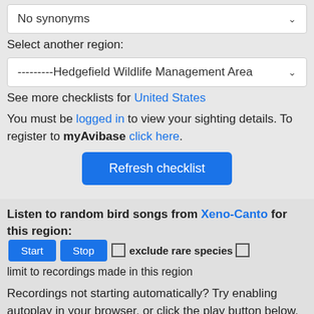No synonyms
Select another region:
---------Hedgefield Wildlife Management Area
See more checklists for United States
You must be logged in to view your sighting details. To register to myAvibase click here.
Refresh checklist
Listen to random bird songs from Xeno-Canto for this region:
exclude rare species
limit to recordings made in this region
Recordings not starting automatically? Try enabling autoplay in your browser, or click the play button below.